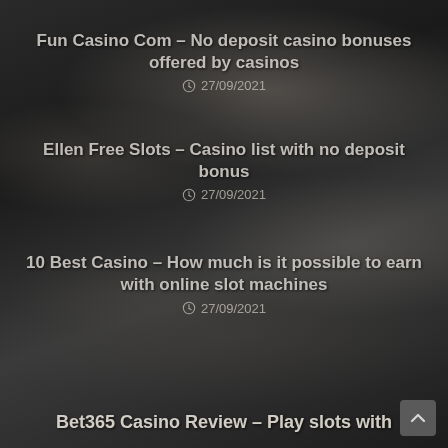Fun Casino Com – No deposit casino bonuses offered by casinos
27/09/2021
Ellen Free Slots – Casino list with no deposit bonus
27/09/2021
10 Best Casino – How much is it possible to earn with online slot machines
27/09/2021
Bet365 Casino Review – Play slots with